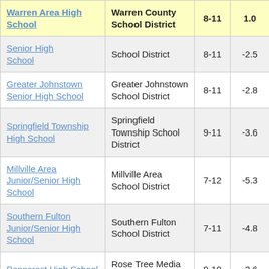| School | District | Grades | Score |  |
| --- | --- | --- | --- | --- |
| Warren Area High School | Warren County School District | 8-11 | 1.0 |  |
| Senior High School | School District | 8-11 | -2.5 |  |
| Greater Johnstown Senior High School | Greater Johnstown School District | 8-11 | -2.8 |  |
| Springfield Township High School | Springfield Township School District | 9-11 | -3.6 |  |
| Millville Area Junior/Senior High School | Millville Area School District | 7-12 | -5.3 |  |
| Southern Fulton Junior/Senior High School | Southern Fulton School District | 7-11 | -4.8 |  |
| Penncrest High School | Rose Tree Media School District | 9-10 | -2.6 |  |